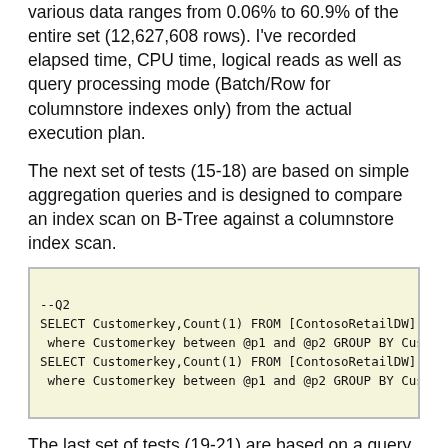various data ranges from 0.06% to 60.9% of the entire set (12,627,608 rows). I've recorded elapsed time, CPU time, logical reads as well as query processing mode (Batch/Row for columnstore indexes only) from the actual execution plan.
The next set of tests (15-18) are based on simple aggregation queries and is designed to compare an index scan on B-Tree against a columnstore index scan.
--Q2
SELECT Customerkey,Count(1) FROM [ContosoRetailDW].[dbo].
 where Customerkey between @p1 and @p2 GROUP BY Customerke
SELECT Customerkey,Count(1) FROM [ContosoRetailDW].[dbo].
 where Customerkey between @p1 and @p2 GROUP BY Customerke
The last set of tests (19-21) are based on a query similar to Q1 and is designed to test execution behavior when the table hosts both types of indexes.